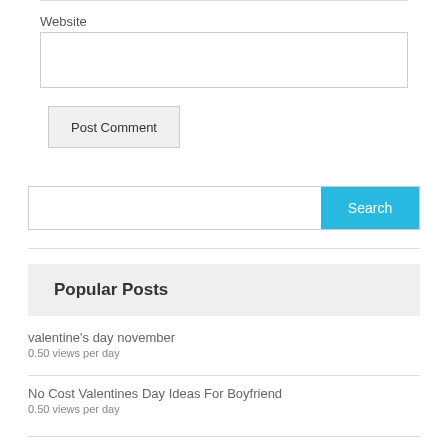Website
Post Comment
Search
Popular Posts
valentine's day november
0.50 views per day
No Cost Valentines Day Ideas For Boyfriend
0.50 views per day